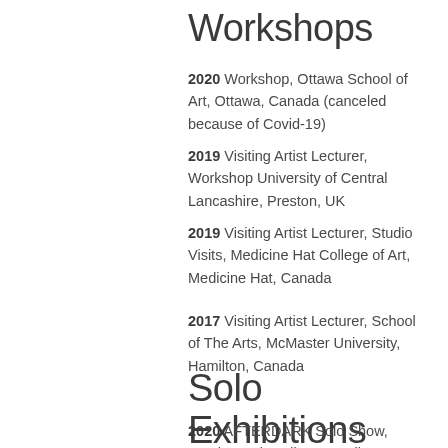Workshops
2020 Workshop, Ottawa School of Art, Ottawa, Canada (canceled because of Covid-19)
2019 Visiting Artist Lecturer, Workshop University of Central Lancashire, Preston, UK
2019 Visiting Artist Lecturer, Studio Visits, Medicine Hat College of Art, Medicine Hat, Canada
2017 Visiting Artist Lecturer, School of The Arts, McMaster University, Hamilton, Canada
Solo Exhibitions
2020 AFTERDARK Solo Show, Smokestack Gallery, Hamilton, Canada